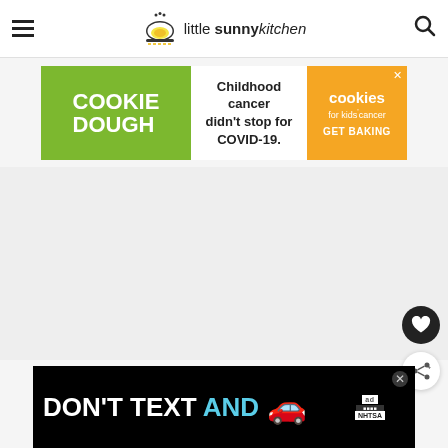little sunny kitchen — website header with hamburger menu and search icon
[Figure (other): Cookie Dough advertisement banner: green left section with 'COOKIE DOUGH' text, white middle section with 'Childhood cancer didn't stop for COVID-19.', orange right section with 'cookies for kids cancer GET BAKING']
[Figure (other): DON'T TEXT AND [car illustration] ad banner — NHTSA advertisement on black background]
[Figure (other): Floating action button: heart icon (save/favorite) — black circle]
[Figure (other): Floating action button: share icon — white circle with shadow]